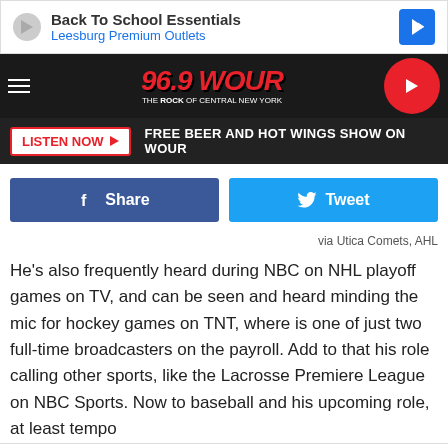[Figure (screenshot): Ad banner: Back To School Essentials, Leesburg Premium Outlets]
[Figure (logo): 96.9 WOUR radio station logo with hamburger menu and play button]
LISTEN NOW ▶  FREE BEER AND HOT WINGS SHOW ON WOUR
f Share   🐦 Tweet
via Utica Comets, AHL
He's also frequently heard during NBC on NHL playoff games on TV, and can be seen and heard minding the mic for hockey games on TNT, where is one of just two full-time broadcasters on the payroll. Add to that his role calling other sports, like the Lacrosse Premiere League on NBC Sports. Now to baseball and his upcoming role, at least tempo kees, filling-i
[Figure (screenshot): Ad overlay banner: Back To School Essentials, Leesburg Premium Outlets]